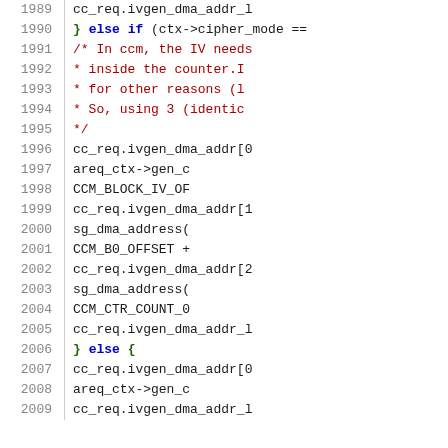Source code listing, lines 1989–2009, showing C code for cc_req.ivgen_dma_addr assignments with CCM cipher mode handling